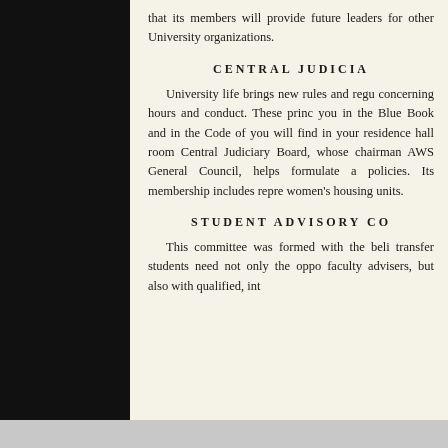that its members will provide future leaders for other University organizations.
CENTRAL JUDICIA
University life brings new rules and regu concerning hours and conduct. These princ you in the Blue Book and in the Code of you will find in your residence hall roor Central Judiciary Board, whose chairman AWS General Council, helps formulate a policies. Its membership includes repre women's housing units.
STUDENT ADVISORY CO
This committee was formed with the beli transfer students need not only the oppo faculty advisers, but also with qualified, int